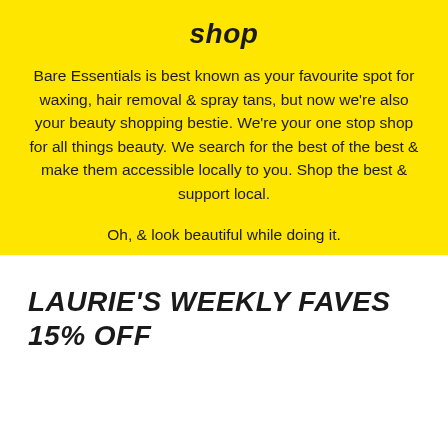shop
Bare Essentials is best known as your favourite spot for waxing, hair removal & spray tans, but now we're also your beauty shopping bestie. We're your one stop shop for all things beauty. We search for the best of the best & make them accessible locally to you. Shop the best & support local.
Oh, & look beautiful while doing it.
LAURIE'S WEEKLY FAVES 15% OFF